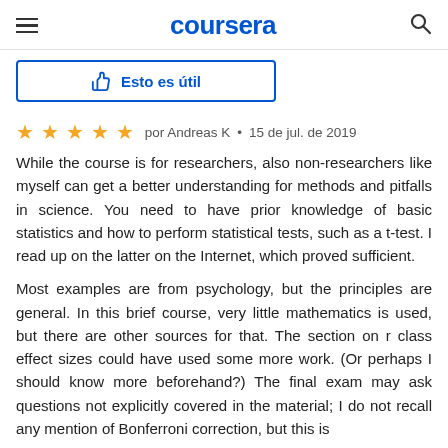coursera
[Figure (screenshot): Thumbs up button labeled 'Esto es útil' (This is useful) with blue border]
★★★★★  por Andreas K  •  15 de jul. de 2019
While the course is for researchers, also non-researchers like myself can get a better understanding for methods and pitfalls in science. You need to have prior knowledge of basic statistics and how to perform statistical tests, such as a t-test. I read up on the latter on the Internet, which proved sufficient.

Most examples are from psychology, but the principles are general. In this brief course, very little mathematics is used, but there are other sources for that. The section on r class effect sizes could have used some more work. (Or perhaps I should know more beforehand?) The final exam may ask questions not explicitly covered in the material; I do not recall any mention of Bonferroni correction, but this is